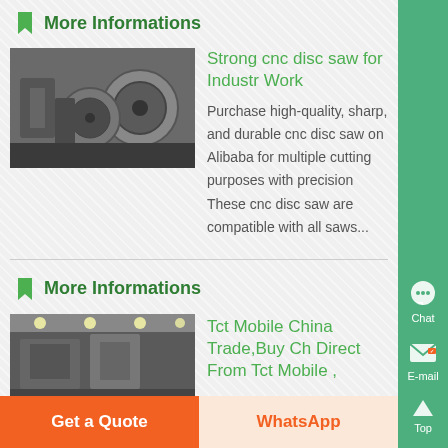More Informations
[Figure (photo): Industrial CNC disc saw blades stacked in a workshop]
Strong cnc disc saw for Industr Work
Purchase high-quality, sharp, and durable cnc disc saw on Alibaba for multiple cutting purposes with precision These cnc disc saw are compatible with all saws...
More Informations
[Figure (photo): Industrial factory floor with machinery]
Tct Mobile China Trade,Buy Ch Direct From Tct Mobile ,